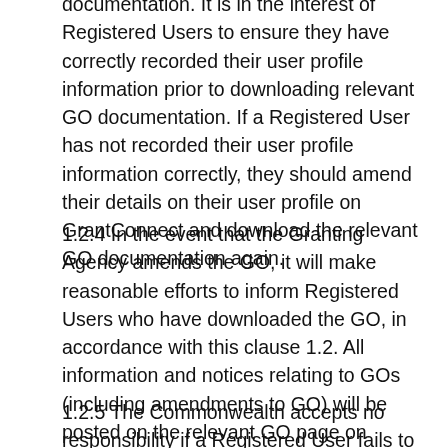documentation.  It is in the interest of Registered Users to ensure they have correctly recorded their user profile information prior to downloading relevant GO documentation. If a Registered User has not recorded their user profile information correctly, they should amend their details on their user profile on GrantConnect and download the relevant GO documentation again.
1.2.4 In the event that the Granting Agency amends the GO, it will make reasonable efforts to inform Registered Users who have downloaded the GO, in accordance with this clause 1.2.  All information and notices relating to GOs (including amendments to GO) will be posted on the relevant GO page on GrantConnect as an addendum.
1.2.5  The Commonwealth accepts no responsibility if a Registered User fails to become aware of any